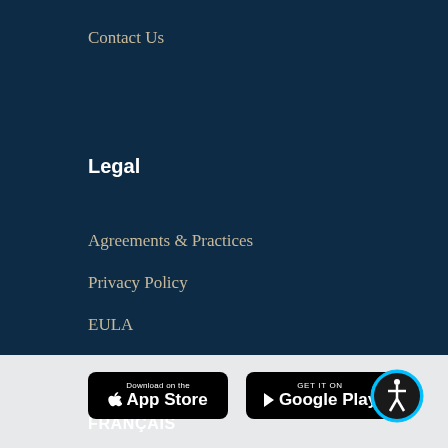Contact Us
Legal
Agreements & Practices
Privacy Policy
EULA
ENGLISH
FRANÇAIS
[Figure (logo): Download on the App Store button]
[Figure (logo): Get it on Google Play button]
[Figure (illustration): Accessibility icon - person in circle with cyan border]